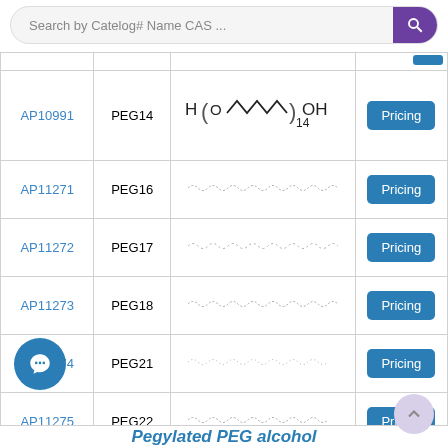[Figure (screenshot): Search bar with text 'Search by Catelog# Name CAS ...' and a purple search icon button]
| Catalog# | Name | Structure | Price |
| --- | --- | --- | --- |
| AP10991 | PEG14 | [chemical structure: H(O-CH2CH2)14OH] | Pricing |
| AP11271 | PEG16 | [wavy line structure] | Pricing |
| AP11272 | PEG17 | [wavy line structure] | Pricing |
| AP11273 | PEG18 | [wavy line structure] | Pricing |
| AP11274 | PEG21 | [wavy line structure] | Pricing |
| AP11275 | PEG22 | [wavy line structure] | Pricing |
|  | PEG25 | [wavy line structure] | Pricing |
Pegylated PEG alcohol